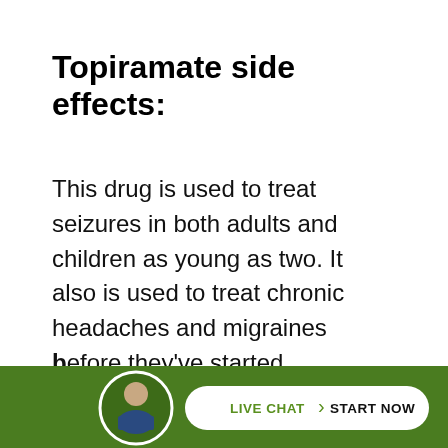Topiramate side effects:
This drug is used to treat seizures in both adults and children as young as two. It also is used to treat chronic headaches and migraines before they've started. However, through clinical trials and listening to the medical community, the drug manufacturer discovered that it also caused serious loss of appetite. Qnexa is the first dru...
[Figure (photo): Bottom green bar with a circular avatar photo of a man in a suit, and a white pill-shaped button reading 'LIVE CHAT > START NOW']